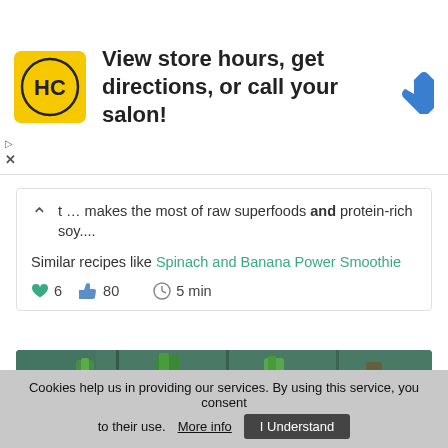[Figure (infographic): Ad banner for Hair Club (HC) salon with logo, text 'View store hours, get directions, or call your salon!' and a blue navigation arrow diamond icon]
t ... makes the most of raw superfoods and protein-rich soy....
Similar recipes like Spinach and Banana Power Smoothie
6  80  5 min
[Figure (photo): Photo of green herb bundles tied with twine hanging on a string against a teal wooden fence background]
Cookies help us in providing our services. By using this service, you consent to their use. More info  I Understand